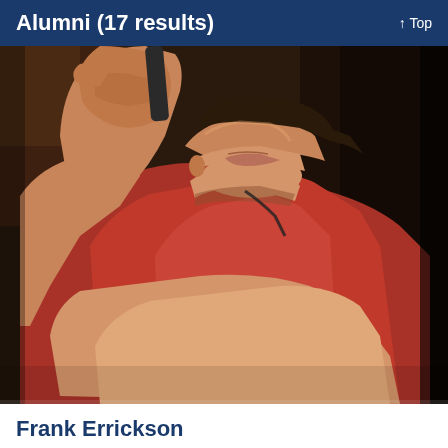Alumni (17 results)
[Figure (photo): A young man wearing a red t-shirt, seated with arms crossed and one hand raised near his chin, photographed from chest up against a dark background with warm lighting.]
Frank Errickson